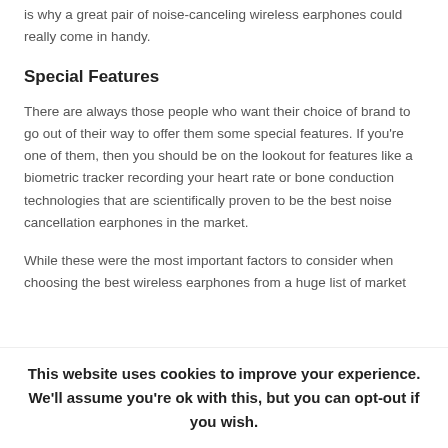is why a great pair of noise-canceling wireless earphones could really come in handy.
Special Features
There are always those people who want their choice of brand to go out of their way to offer them some special features. If you're one of them, then you should be on the lookout for features like a biometric tracker recording your heart rate or bone conduction technologies that are scientifically proven to be the best noise cancellation earphones in the market.
While these were the most important factors to consider when choosing the best wireless earphones from a huge list of market
This website uses cookies to improve your experience. We'll assume you're ok with this, but you can opt-out if you wish.